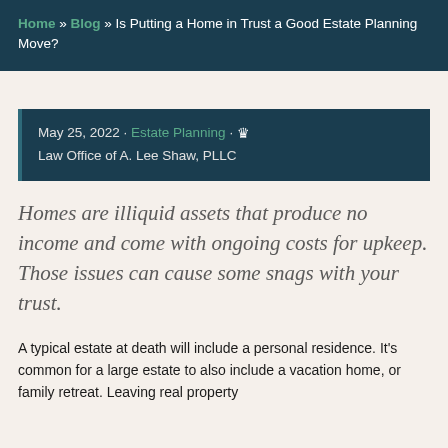Home » Blog » Is Putting a Home in Trust a Good Estate Planning Move?
May 25, 2022 • Estate Planning • ♛ Law Office of A. Lee Shaw, PLLC
Homes are illiquid assets that produce no income and come with ongoing costs for upkeep. Those issues can cause some snags with your trust.
A typical estate at death will include a personal residence. It's common for a large estate to also include a vacation home, or family retreat. Leaving real property…